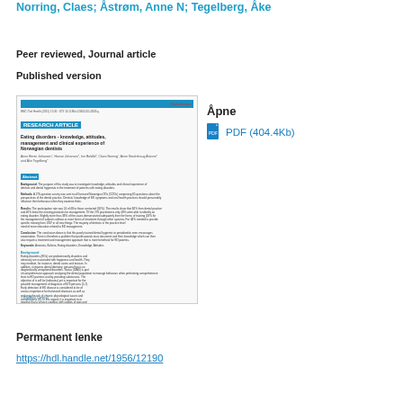Norring, Claes; Åstrøm, Anne N; Tegelberg, Åke
Peer reviewed, Journal article
Published version
[Figure (screenshot): Thumbnail of the journal article titled 'Eating disorders - knowledge, attitudes, management and clinical experience of Norwegian dentists']
Åpne
PDF (404.4Kb)
Permanent lenke
https://hdl.handle.net/1956/12190